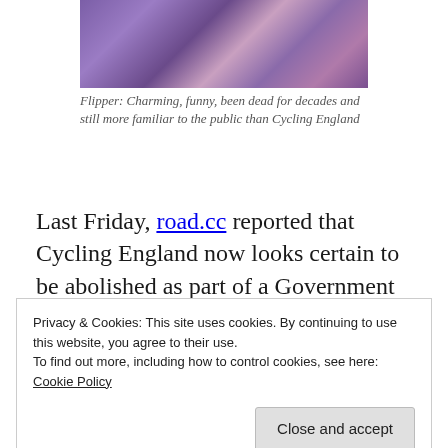[Figure (photo): Partial photo with purple and pink abstract/animal colors, cropped at top]
Flipper: Charming, funny, been dead for decades and still more familiar to the public than Cycling England
Last Friday, road.cc reported that Cycling England now looks certain to be abolished as part of a Government cull on quangos (or ‘quasi autonomous non-governmental
Privacy & Cookies: This site uses cookies. By continuing to use this website, you agree to their use.
To find out more, including how to control cookies, see here:
Cookie Policy
Close and accept